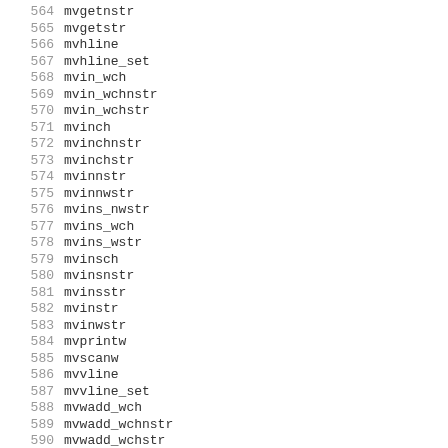564  mvgetnstr
565  mvgetstr
566  mvhline
567  mvhline_set
568  mvin_wch
569  mvin_wchnstr
570  mvin_wchstr
571  mvinch
572  mvinchnstr
573  mvinchstr
574  mvinnstr
575  mvinnwstr
576  mvins_nwstr
577  mvins_wch
578  mvins_wstr
579  mvinsch
580  mvinsnstr
581  mvinsstr
582  mvinstr
583  mvinwstr
584  mvprintw
585  mvscanw
586  mvvline
587  mvvline_set
588  mvwadd_wch
589  mvwadd_wchnstr
590  mvwadd_wchstr
591  mvwaddch
592  mvwaddchnstr
593  mvwaddchstr
594  mvwaddnstr
595  mvwaddnwstr